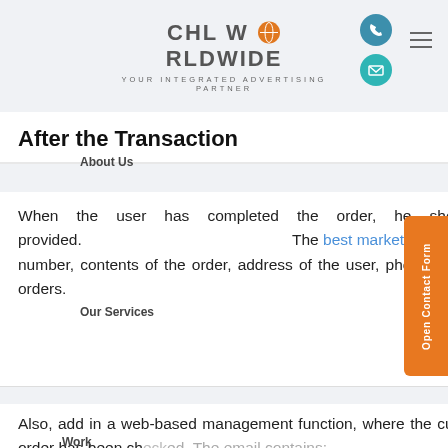CHL WORLDWIDE — YOUR INTEGRATED ADVERTISING PARTNER
After the Transaction
When the user has completed the order, he should receive the receipt of the order via the email address provided. The best marketing communication agency in India ensures that the order receipt contains the order number, contents of the order, address of the user, phone number, and email. You can add banners or social media links to your email orders.
Also, add in a web-based management function, where the customers can see their order status. Many websites send an email once the order has been checked. The email contains: